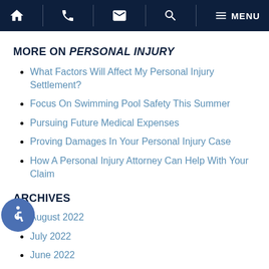Navigation bar with home, phone, email, search, and menu icons
MORE ON PERSONAL INJURY
What Factors Will Affect My Personal Injury Settlement?
Focus On Swimming Pool Safety This Summer
Pursuing Future Medical Expenses
Proving Damages In Your Personal Injury Case
How A Personal Injury Attorney Can Help With Your Claim
ARCHIVES
August 2022
July 2022
June 2022
May 2022
April 2022